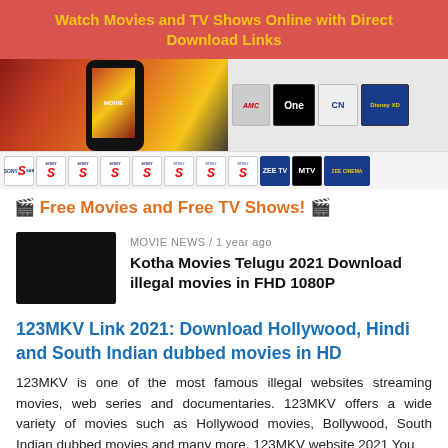Watch Movies and TV Shows Online with Direct Download Links
[Figure (screenshot): Banner image with phone showing movie content on left, and TV channel logos (AMC, One, Cartoon Network, Disney XD) on right; second row shows Sony channels, Zee TV, MTV, Zee Cinema logos]
🎬 Free Movies and Free TV Shows! 🎬
MOVIE NEWS / 1 year ago
Kotha Movies Telugu 2021 Download illegal movies in FHD 1080P
123MKV Link 2021: Download Hollywood, Hindi and South Indian dubbed movies in HD
123MKV is one of the most famous illegal websites streaming movies, web series and documentaries. 123MKV offers a wide variety of movies such as Hollywood movies, Bollywood, South Indian dubbed movies and many more. 123MKV website 2021 You